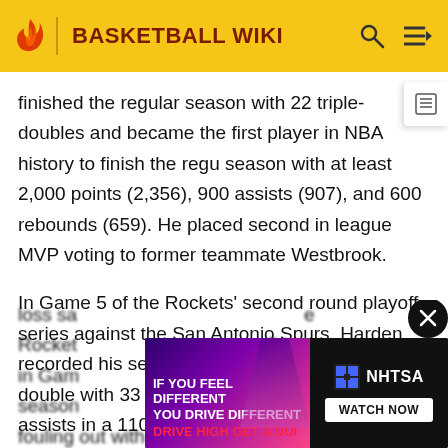BASKETBALL WIKI
finished the regular season with 22 triple-doubles and became the first player in NBA history to finish the regular season with at least 2,000 points (2,356), 900 assists (907), and 600 rebounds (659). He placed second in league MVP voting to former teammate Westbrook.
In Game 5 of the Rockets' second round playoff series against the San Antonio Spurs, Harden recorded his second career postseason triple-double with 33 points, 10 rebounds and 10 assists in a 110-107 overtime loss; the loss saw the Rockets eliminated. After a 2-3 loss in Game [6], having a season [end], the fouling out with 7:15 left
[Figure (other): NHTSA advertisement overlay: 'IF YOU FEEL DIFFERENT YOU DRIVE DIFFERENT DRIVE HIGH GET A DUI' with NHTSA logo and WATCH NOW button]